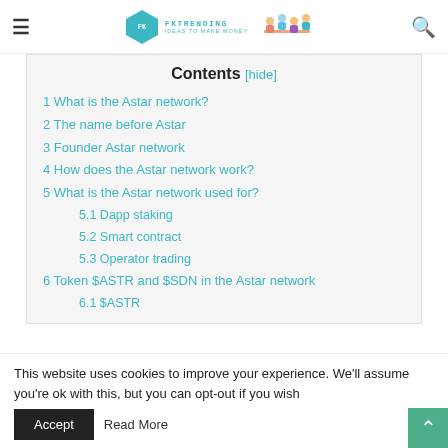FKTrending - Ideas to Make Money (navigation header with logo)
Contents [hide]
1 What is the Astar network?
2 The name before Astar
3 Founder Astar network
4 How does the Astar network work?
5 What is the Astar network used for?
5.1 Dapp staking
5.2 Smart contract
5.3 Operator trading
6 Token $ASTR and $SDN in the Astar network
6.1 $ASTR
This website uses cookies to improve your experience. We'll assume you're ok with this, but you can opt-out if you wish